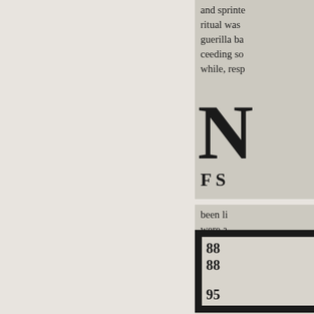and sprinte ritual was guerilla ba ceeding son while, resp
N F S
been li were a Perha the Mo mercia perfor hits li with a messag and m subside the Ro Dylan's evenin which piano s Amer
[Figure (other): Framed advertisement box with partial text showing RICE, 38, 88, 85]